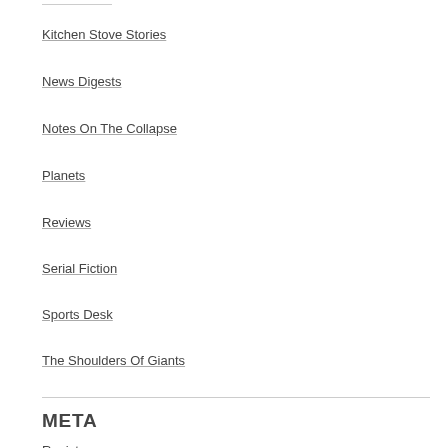Kitchen Stove Stories
News Digests
Notes On The Collapse
Planets
Reviews
Serial Fiction
Sports Desk
The Shoulders Of Giants
META
Register
Log in
Entries feed